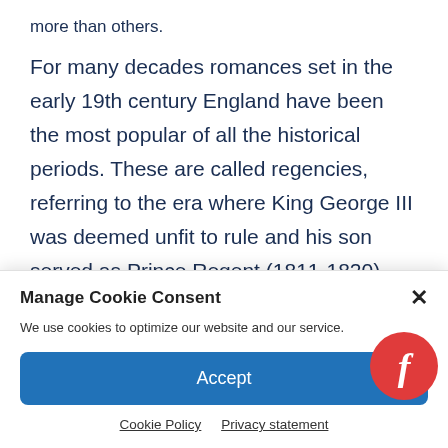more than others.
For many decades romances set in the early 19th century England have been the most popular of all the historical periods. These are called regencies, referring to the era where King George III was deemed unfit to rule and his son served as Prince Regent (1811-1820), however
Manage Cookie Consent
We use cookies to optimize our website and our service.
Accept
Cookie Policy   Privacy statement